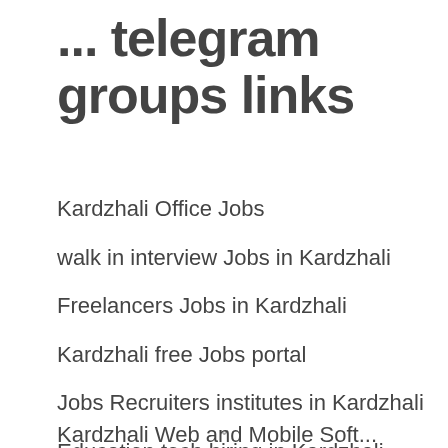... telegram groups links
Kardzhali Office Jobs
walk in interview Jobs in Kardzhali
Freelancers Jobs in Kardzhali
Kardzhali free Jobs portal
Jobs Recruiters institutes in Kardzhali
Education tech hiring in Kardzhali
Jobs Daily Updates Kardzhali
Kardzhali Web and Mobile Soft...